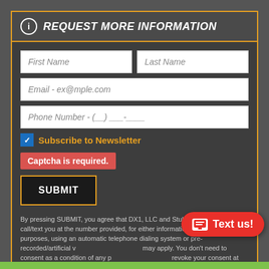REQUEST MORE INFORMATION
First Name
Last Name
Email - ex@mple.com
Phone Number - (__) ___-____
Subscribe to Newsletter
Captcha is required.
SUBMIT
By pressing SUBMIT, you agree that DX1, LLC and Stubbs Cycles may call/text you at the number provided, for either informational or marketing purposes, using an automatic telephone dialing system or pre-recorded/artificial voice messages. Rates may apply. You don't need to consent as a condition of any purchase, & you may revoke your consent at any time. You also agree to our Privacy Policy and Terms of Use.
Text us!